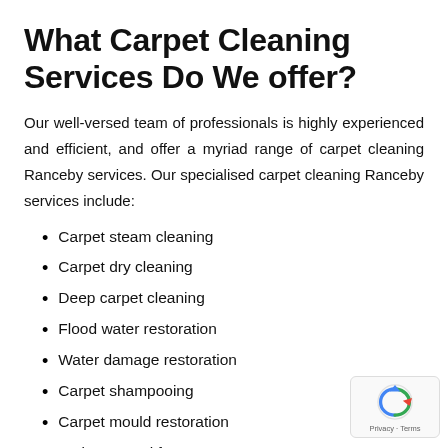What Carpet Cleaning Services Do We offer?
Our well-versed team of professionals is highly experienced and efficient, and offer a myriad range of carpet cleaning Ranceby services. Our specialised carpet cleaning Ranceby services include:
Carpet steam cleaning
Carpet dry cleaning
Deep carpet cleaning
Flood water restoration
Water damage restoration
Carpet shampooing
Carpet mould restoration
Stain removal from carpet
Hot water extraction
Pet urine stain and odour removal